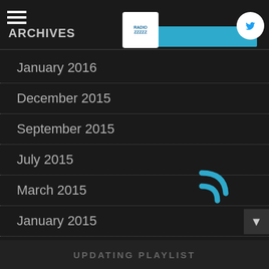ARCHIVES
January 2016
December 2015
September 2015
July 2015
March 2015
January 2015
November 2014
October 2014
UPDATING PLAYLIST